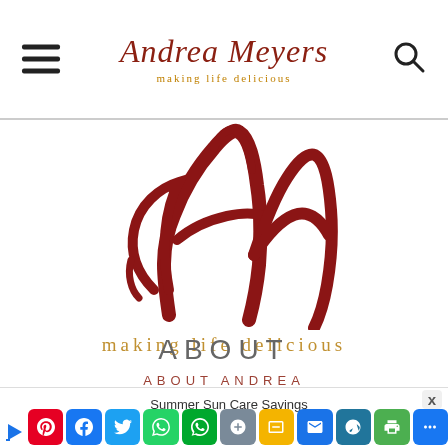Andrea Meyers – making life delicious
[Figure (logo): Large Andrea Meyers cursive AM monogram logo in dark red, with tagline 'making life delicious' in gold below]
ABOUT
ABOUT ANDREA
[Figure (screenshot): Mobile browser ad bar at bottom with Summer Sun Care Savings ad and social sharing icons including Pinterest, Facebook, Twitter, WhatsApp, Evernote, and more]